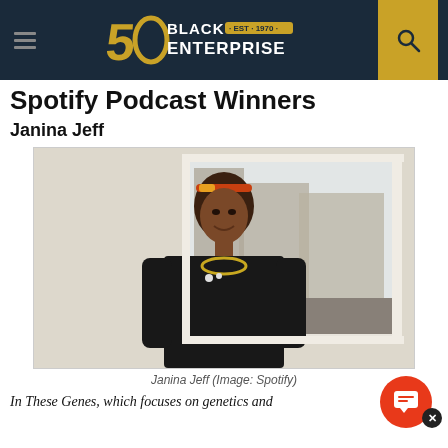Black Enterprise — EST. 1970 (50th anniversary logo)
Spotify Podcast Winners
Janina Jeff
[Figure (photo): Portrait of Janina Jeff standing in front of a window with a city street visible behind her. She is wearing a black long-sleeve top with a gold chain necklace and a colorful headband. The background shows urban buildings and parked cars.]
Janina Jeff (Image: Spotify)
In These Genes, which focuses on genetics and